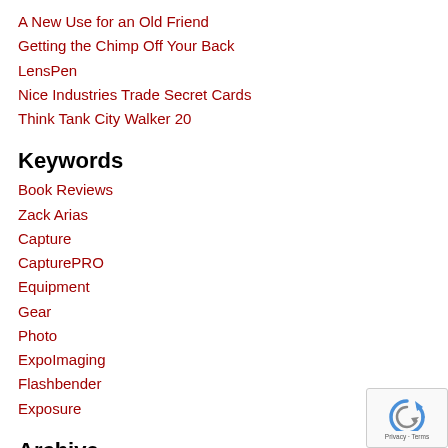A New Use for an Old Friend
Getting the Chimp Off Your Back
LensPen
Nice Industries Trade Secret Cards
Think Tank City Walker 20
Keywords
Book Reviews
Zack Arias
Capture
CapturePRO
Equipment
Gear
Photo
ExpoImaging
Flashbender
Exposure
Archive
[Figure (logo): Google reCAPTCHA badge with arrow icon and Privacy · Terms text]